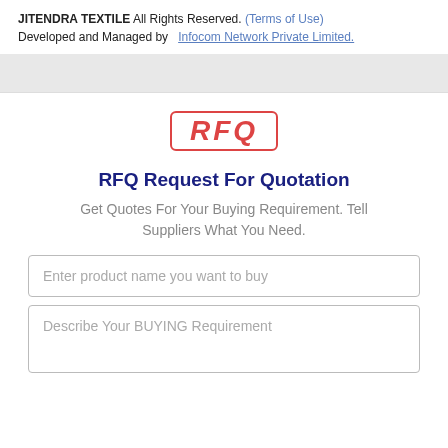JITENDRA TEXTILE All Rights Reserved. (Terms of Use)
Developed and Managed by  Infocom Network Private Limited.
[Figure (other): RFQ stamp graphic with red border and italic bold text 'RFQ']
RFQ Request For Quotation
Get Quotes For Your Buying Requirement. Tell Suppliers What You Need.
Enter product name you want to buy
Describe Your BUYING Requirement